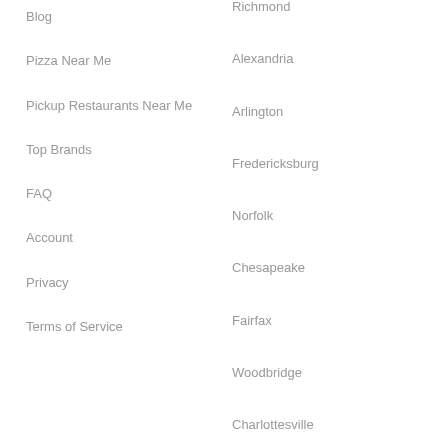Richmond
Blog
Alexandria
Pizza Near Me
Arlington
Pickup Restaurants Near Me
Fredericksburg
Top Brands
Norfolk
FAQ
Chesapeake
Account
Fairfax
Privacy
Woodbridge
Terms of Service
Charlottesville
Sterling
Newport News
View All Cities